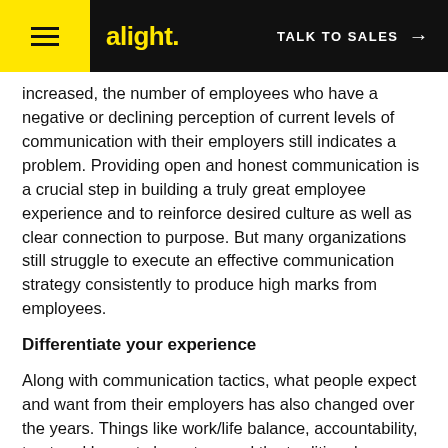alight. TALK TO SALES →
increased, the number of employees who have a negative or declining perception of current levels of communication with their employers still indicates a problem. Providing open and honest communication is a crucial step in building a truly great employee experience and to reinforce desired culture as well as clear connection to purpose. But many organizations still struggle to execute an effective communication strategy consistently to produce high marks from employees.
Differentiate your experience
Along with communication tactics, what people expect and want from their employers has also changed over the years. Things like work/life balance, accountability, trust and honesty have trumped the traditional characteristics related to recognition, respect, loyalty